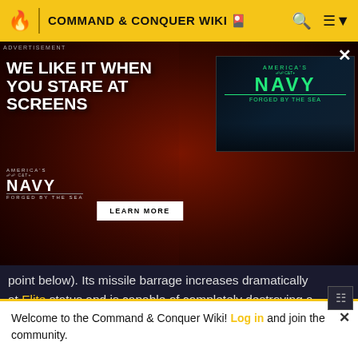COMMAND & CONQUER WIKI
[Figure (photo): Advertisement banner for America's Navy 'We Like It When You Stare At Screens' campaign. Shows a woman with glasses in red-tinted lighting on the left, and a Navy video thumbnail on the right with green 'NAVY FORGED BY THE SEA' text. A 'LEARN MORE' button is visible.]
point below). Its missile barrage increases dramatically at Elite status and is capable of completely destroying a group of three Kirov Airships (and maybe more) in seconds, making it become the most powerful anti-aircraft unit in game, especially if it has collected a firepower upgrade crate.
Welcome to the Command & Conquer Wiki! Log in and join the community.